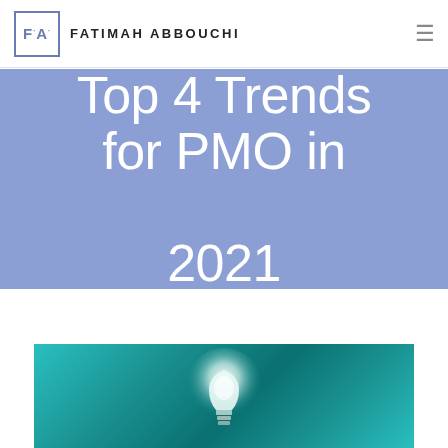FA · FATIMAH ABBOUCHI
Top 4 Trends for PMO in 2021
[Figure (photo): Glowing lightbulb silhouette against a teal/turquoise background, partially visible at the bottom of the page]